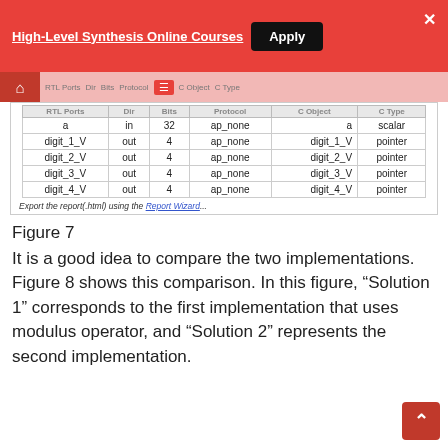High-Level Synthesis Online Courses | Apply | X
[Figure (screenshot): Screenshot of an HLS tool interface showing a port table with columns RTL Ports, Dir, Bits, Protocol, C Object, C Type. Rows: a (in, 32, ap_none, a, scalar), digit_1_V (out, 4, ap_none, digit_1_V, pointer), digit_2_V (out, 4, ap_none, digit_2_V, pointer), digit_3_V (out, 4, ap_none, digit_3_V, pointer), digit_4_V (out, 4, ap_none, digit_4_V, pointer). Footer text: Export the report(.html) using the Report Wizard...]
Figure 7
It is a good idea to compare the two implementations. Figure 8 shows this comparison. In this figure, “Solution 1” corresponds to the first implementation that uses modulus operator, and “Solution 2” represents the second implementation.